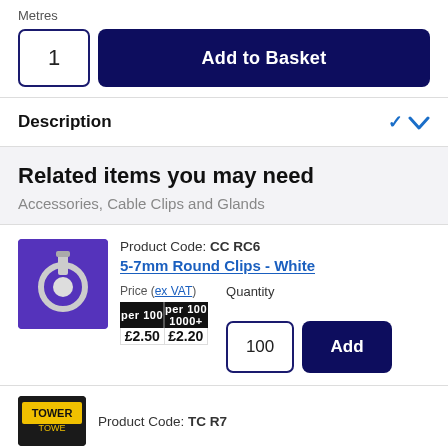Metres
1
Add to Basket
Description
Related items you may need
Accessories, Cable Clips and Glands
Product Code: CC RC6
5-7mm Round Clips - White
Price (ex VAT)
| per 100 | per 100 1000+ |
| --- | --- |
| £2.50 | £2.20 |
Quantity
100
Add
Product Code: TC R7